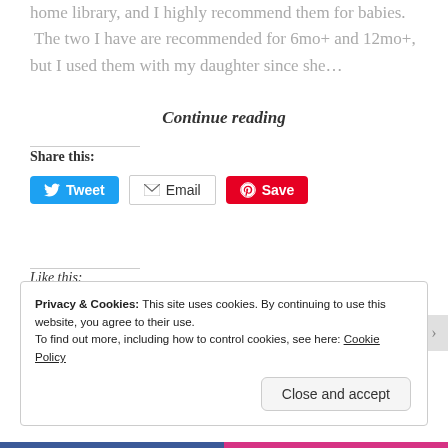home library, and I highly recommend them for babies. The two I have are recommended for 6mo+ and 12mo+, but I used them with my daughter since she...
Continue reading
Share this:
[Figure (infographic): Three social sharing buttons: Tweet (blue, Twitter bird icon), Email (white with border and envelope icon), Save (red with Pinterest icon)]
Like this:
Privacy & Cookies: This site uses cookies. By continuing to use this website, you agree to their use.
To find out more, including how to control cookies, see here: Cookie Policy
Close and accept